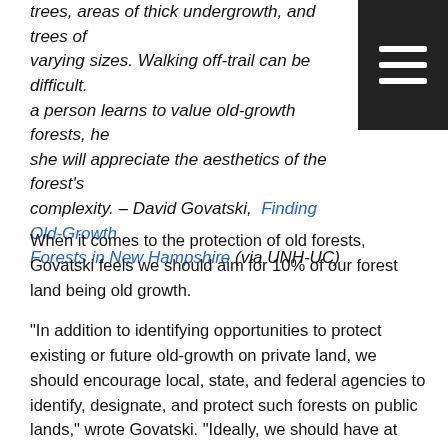trees, areas of thick undergrowth, and trees of varying sizes. Walking off-trail can be difficult. a person learns to value old-growth forests, he she will appreciate the aesthetics of the forest's complexity. – David Govatski, Finding Old-Growth Forests in New Hampshire (via UNH-UC)
When it comes to the protection of old forests, Govatski feels we should aim for 10% of our forest land being old growth.
“In addition to identifying opportunities to protect existing or future old-growth on private land, we should encourage local, state, and federal agencies to identify, designate, and protect such forests on public lands,” wrote Govatski. “Ideally, we should have at least one old-growth forest designated in each of our ten counties.”
For information about the old forest on Mount Sunapee, see Natural Heritage and Ancient Forests (FOMS).